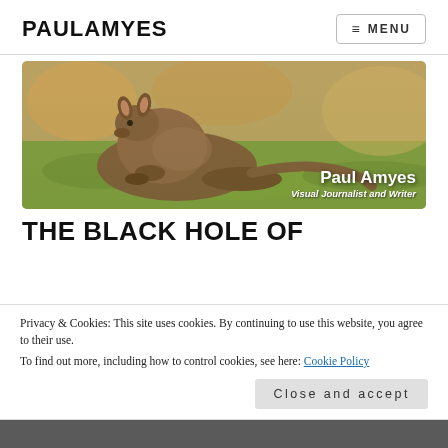PAULAMYES
≡ MENU
[Figure (photo): A kangaroo resting on grass in a sunny outdoor setting. Overlay text reads: Paul Amyes, Visual Journalist and Writer]
THE BLACK HOLE OF
Privacy & Cookies: This site uses cookies. By continuing to use this website, you agree to their use.
To find out more, including how to control cookies, see here: Cookie Policy
Close and accept